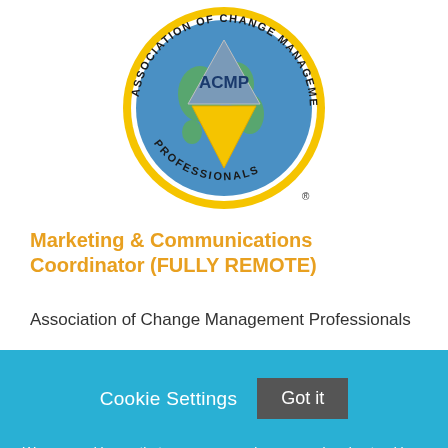[Figure (logo): ACMP Association of Change Management Professionals circular logo with globe background, triangles, and yellow/blue colors]
Marketing & Communications Coordinator (FULLY REMOTE)
Association of Change Management Professionals
Cookie Settings  Got it
We use cookies so that we can remember you and understand how you use our site. If you do not agree with our use of cookies, please change the current settings found in our Cookie Policy. Otherwise, you agree to the use of the cookies as they are currently set.